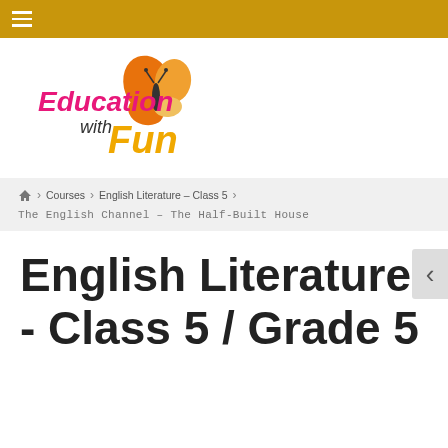≡
[Figure (logo): Education with Fun logo — colorful text with butterfly graphic]
🏠 > Courses > English Literature - Class 5 > The English Channel – The Half-Built House
English Literature - Class 5 / Grade 5